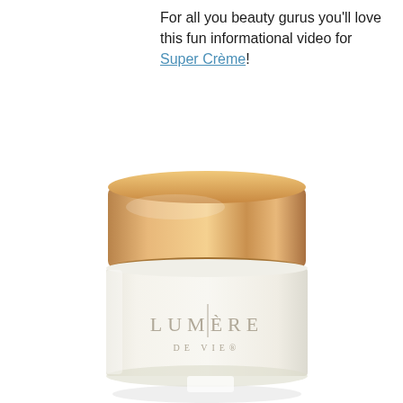For all you beauty gurus you'll love this fun informational video for Super Crème!
[Figure (photo): Lumière de Vie skincare cream jar with a gold metallic lid and white frosted glass base displaying the brand name LUMIÈRE DE VIE in elegant lettering]